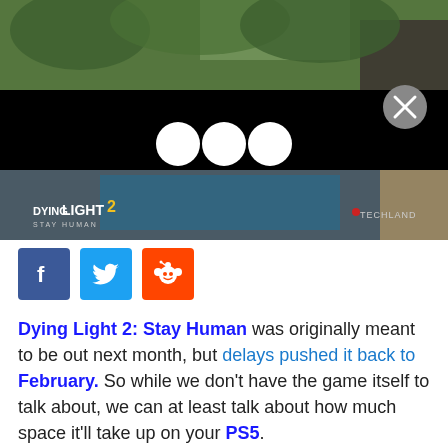[Figure (screenshot): Game screenshot of Dying Light 2: Stay Human showing outdoor environment with trees and buildings, overlaid with a black loading/ad panel featuring three white dots and an X close button. Below the overlay is another screenshot showing a top-down view of a pool area with the Dying Light 2 Stay Human logo and Techland branding.]
[Figure (infographic): Social media share buttons: Facebook (blue with f icon), Twitter (blue with bird icon), Reddit (orange-red with alien icon)]
Dying Light 2: Stay Human was originally meant to be out next month, but delays pushed it back to February. So while we don't have the game itself to talk about, we can at least talk about how much space it'll take up on your PS5.